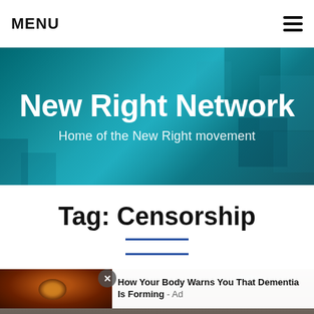MENU
[Figure (illustration): New Right Network website banner with teal/dark teal gradient background and geometric shapes. White bold text reads 'New Right Network' and subtitle 'Home of the New Right movement']
Tag: Censorship
[Figure (photo): Close-up photo of a woman's face (eyes visible) forming the background of an article card, with an advertisement overlay showing a close-up of an eye with text 'How Your Body Warns You That Dementia Is Forming - Ad']